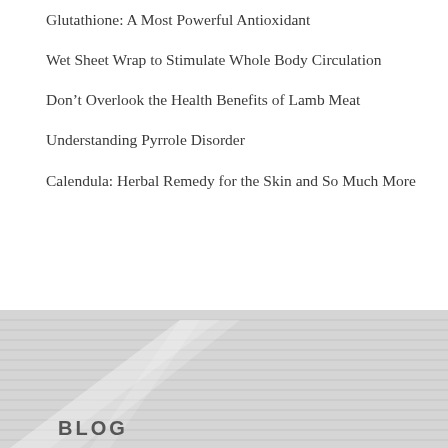Glutathione: A Most Powerful Antioxidant
Wet Sheet Wrap to Stimulate Whole Body Circulation
Don’t Overlook the Health Benefits of Lamb Meat
Understanding Pyrrole Disorder
Calendula: Herbal Remedy for the Skin and So Much More
[Figure (photo): Background image showing architectural/roof structure in light grey tones with a BLOG label overlay]
BLOG